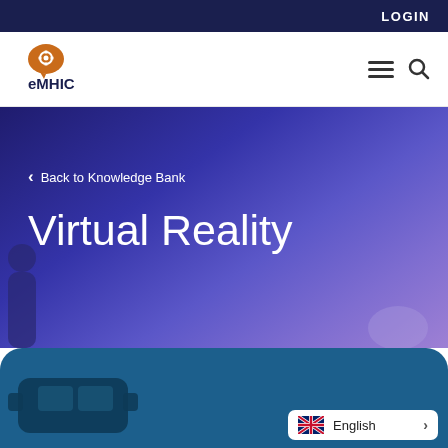LOGIN
[Figure (logo): eMHIC logo — orange speech bubble with gear icon, text eMHIC below]
Back to Knowledge Bank
Virtual Reality
[Figure (photo): Blue section with VR headset visible at bottom, language selector showing English with UK flag]
English